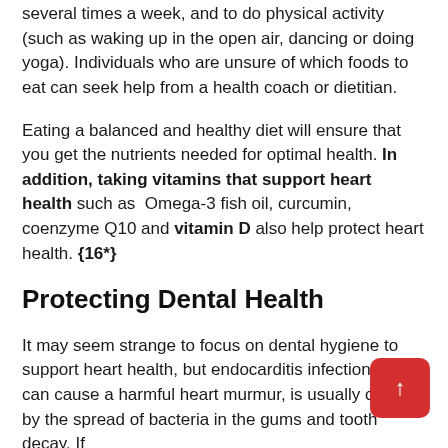several times a week, and to do physical activity (such as waking up in the open air, dancing or doing yoga). Individuals who are unsure of which foods to eat can seek help from a health coach or dietitian.
Eating a balanced and healthy diet will ensure that you get the nutrients needed for optimal health. In addition, taking vitamins that support heart health such as Omega-3 fish oil, curcumin, coenzyme Q10 and vitamin D also help protect heart health. {16*}
Protecting Dental Health
It may seem strange to focus on dental hygiene to support heart health, but endocarditis infection, which can cause a harmful heart murmur, is usually caused by the spread of bacteria in the gums and tooth decay. If